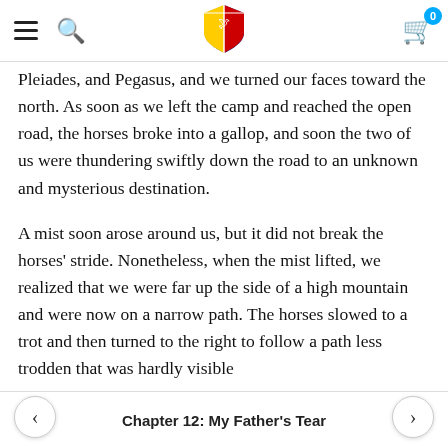Navigation bar with hamburger menu, search icon, shield logo, and cart icon
Pleiades, and Pegasus, and we turned our faces toward the north. As soon as we left the camp and reached the open road, the horses broke into a gallop, and soon the two of us were thundering swiftly down the road to an unknown and mysterious destination.
A mist soon arose around us, but it did not break the horses’ stride. Nonetheless, when the mist lifted, we realized that we were far up the side of a high mountain and were now on a narrow path. The horses slowed to a trot and then turned to the right to follow a path less trodden that was hardly visible
Chapter 12: My Father's Tear